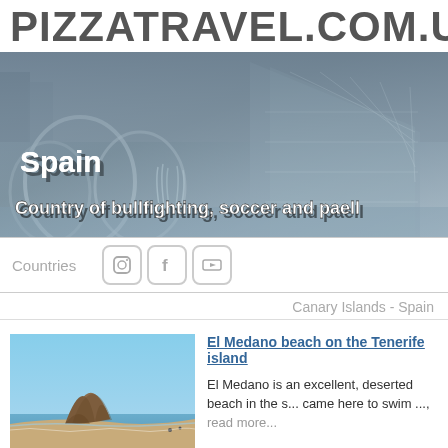PIZZATRAVEL.COM.UA
[Figure (photo): Hero banner photo of modern architectural building (City of Arts and Sciences, Valencia) with fountains and glass structures, overlaid with text 'Spain' and 'Country of bullfighting, soccer and paella']
Spain
Country of bullfighting, soccer and paella
Countries
Canary Islands - Spain
El Medano beach on the Tenerife island
[Figure (photo): Photo of El Medano beach on Tenerife island, showing a volcanic mountain near the coast with beach and calm water]
El Medano is an excellent, deserted beach in the s... came here to swim ..., read more...